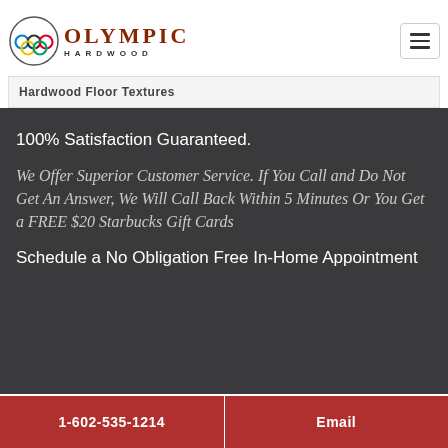[Figure (logo): Olympic Hardwood logo with Olympic rings and text]
Hardwood Floor Textures
100% Satisfaction Guaranteed.
We Offer Superior Customer Service. If You Call and Do Not Get An Answer, We Will Call Back Within 5 Minutes Or You Get a FREE $20 Starbucks Gift Cards
Schedule a No Obligation Free In-Home Appointment
1-602-535-1214
Email